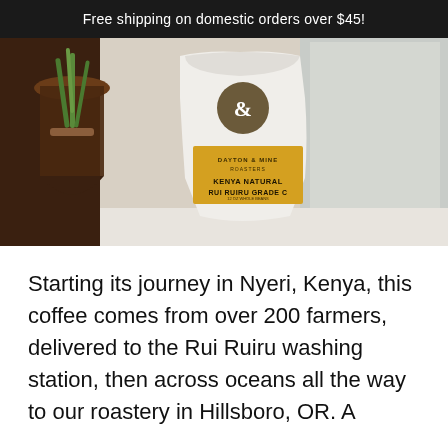Free shipping on domestic orders over $45!
[Figure (photo): A white coffee bag with a brown circular logo featuring an ampersand symbol, and a yellow label reading 'KENYA NATURAL RUI RUIRU GRADE C', placed on a windowsill next to a Chemex coffee maker with green plant stems inside it.]
Starting its journey in Nyeri, Kenya, this coffee comes from over 200 farmers, delivered to the Rui Ruiru washing station, then across oceans all the way to our roastery in Hillsboro, OR. A